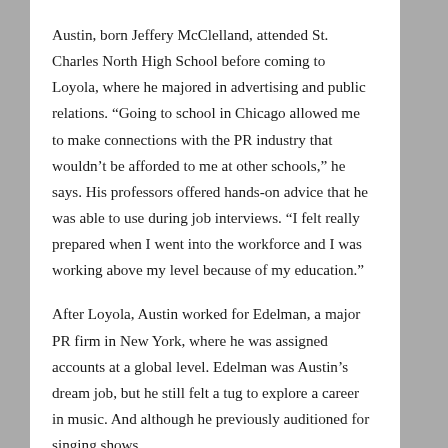Austin, born Jeffery McClelland, attended St. Charles North High School before coming to Loyola, where he majored in advertising and public relations. “Going to school in Chicago allowed me to make connections with the PR industry that wouldn’t be afforded to me at other schools,” he says. His professors offered hands-on advice that he was able to use during job interviews. “I felt really prepared when I went into the workforce and I was working above my level because of my education.”
After Loyola, Austin worked for Edelman, a major PR firm in New York, where he was assigned accounts at a global level. Edelman was Austin’s dream job, but he still felt a tug to explore a career in music. And although he previously auditioned for singing shows,